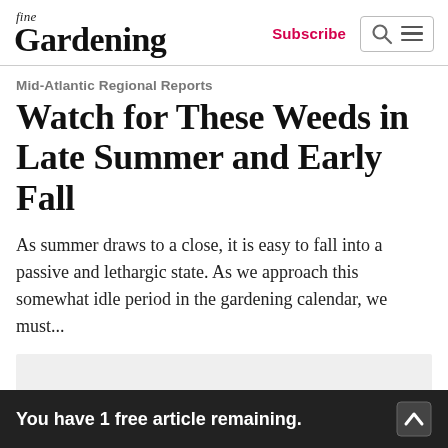fine Gardening | Subscribe
Mid-Atlantic Regional Reports
Watch for These Weeds in Late Summer and Early Fall
As summer draws to a close, it is easy to fall into a passive and lethargic state. As we approach this somewhat idle period in the gardening calendar, we must...
[Figure (other): Advertisement placeholder (gray box)]
You have 1 free article remaining.